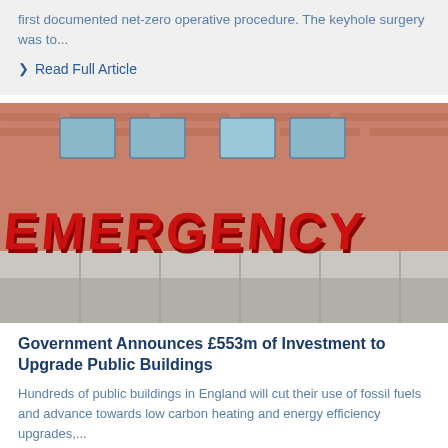first documented net-zero operative procedure. The keyhole surgery was to...
❯ Read Full Article
[Figure (photo): Exterior of a hospital building showing large red 3D letters spelling EMERGENCY mounted on the facade, with brick wall and windows visible above.]
Government Announces £553m of Investment to Upgrade Public Buildings
Hundreds of public buildings in England will cut their use of fossil fuels and advance towards low carbon heating and energy efficiency upgrades,...